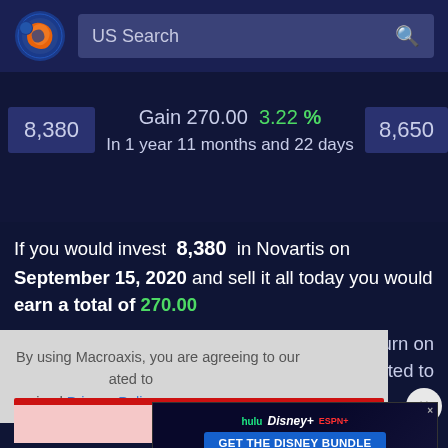[Figure (screenshot): Macroaxis website navigation bar with logo and US Search bar]
8,380   Gain 270.00  3.22%   8,650
In 1 year 11 months and 22 days
If you would invest 8,380 in Novartis on September 15, 2020 and sell it all today you would earn a total of 270.00
By using Macroaxis, you are agreeing to our revised Privacy Policy
[Figure (screenshot): Disney bundle advertisement banner with Hulu, Disney+, ESPN+ logos and GET THE DISNEY BUNDLE CTA]